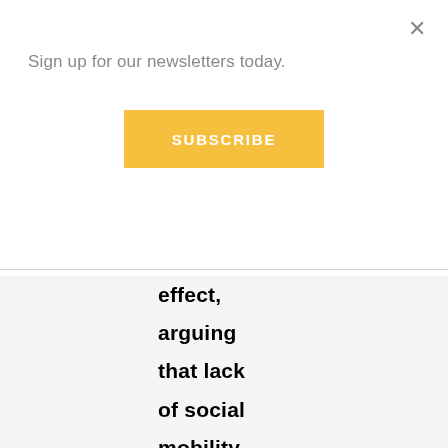Sign up for our newsletters today.
SUBSCRIBE
effect, arguing that lack of social mobility among black youth is a product of their culture rather than the